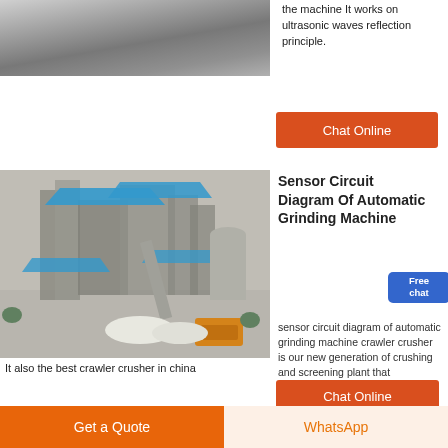[Figure (photo): Aerial view of industrial facility, partially visible at top]
the machine It works on ultrasonic waves reflection principle.
Chat Online
[Figure (photo): 3D render of a large automatic grinding/crushing and screening plant facility with blue rooftops and yellow crawler equipment]
Sensor Circuit Diagram Of Automatic Grinding Machine
sensor circuit diagram of automatic grinding machine crawler crusher is our new generation of crushing and screening plant that developed buy our company
It also the best crawler crusher in china
Chat Online
Get a Quote
WhatsApp